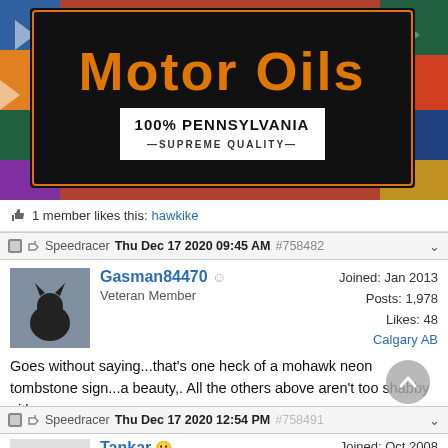[Figure (photo): Vintage motor oil sign on black background reading 'Motor Oils' in orange letters, '100% PENNSYLVANIA SUPREME QUALITY' on white banner, placed on colorful patterned fabric]
1 member likes this: hawkike
Speedracer  Thu Dec 17 2020 09:45 AM  #758482
Gasman84470
Veteran Member
Joined: Jan 2013
Posts: 1,978
Likes: 48
Calgary AB
Goes without saying...that's one heck of a mohawk neon tombstone sign...a beauty,. All the others above aren't too shabby either.
Speedracer  Thu Dec 17 2020 12:54 PM  #758491
Tankar
Joined: Oct 2008
Posts: 3,449